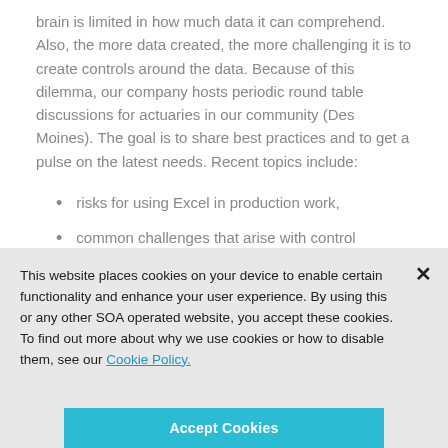brain is limited in how much data it can comprehend. Also, the more data created, the more challenging it is to create controls around the data. Because of this dilemma, our company hosts periodic round table discussions for actuaries in our community (Des Moines). The goal is to share best practices and to get a pulse on the latest needs. Recent topics include:
risks for using Excel in production work,
common challenges that arise with control
This website places cookies on your device to enable certain functionality and enhance your user experience. By using this or any other SOA operated website, you accept these cookies. To find out more about why we use cookies or how to disable them, see our Cookie Policy.